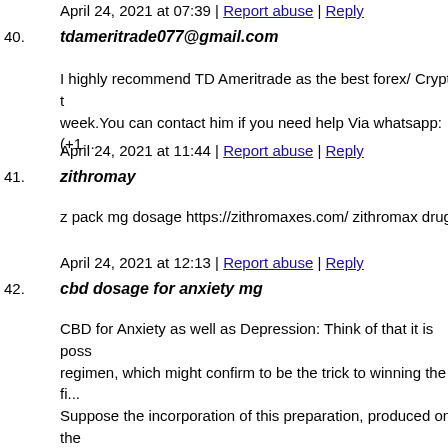April 24, 2021 at 07:39 | Report abuse | Reply
40. tdameritrade077@gmail.com
I highly recommend TD Ameritrade as the best forex/ Crypto t week.You can contact him if you need help Via whatsapp: (+1...
April 24, 2021 at 11:44 | Report abuse | Reply
41. zithromay
z pack mg dosage https://zithromaxes.com/ zithromax drug
April 24, 2021 at 12:13 | Report abuse | Reply
42. cbd dosage for anxiety mg
CBD for Anxiety as well as Depression: Think of that it is poss regimen, which might confirm to be the trick to winning the fi... Suppose the incorporation of this preparation, produced on the chemical compound of plant origin, is not only potentially real effects common of medicinal medicines? Is it even feasible? W post In this article we will certainly cover: What is depression? What is clinical depression? Official definitions suggest that d depression, are characterized by: abrupt depression of an indiv solid intensity of the intensity of the skilled adjustments, for m for the incident of modifications. It additionally takes place tha